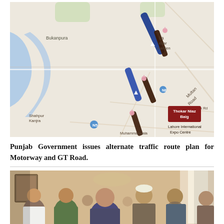[Figure (map): A map showing alternate traffic routes in Lahore, Pakistan. The map displays areas including Bukanpura, Lahore International Expo Centre, Thokar Niaz Baig, Lahore Garden (Laaesar Garden), Shahpur Kanjra, and Multan Road. Dark brown route markers and a blue route highlight are overlaid on the road network.]
Punjab Government issues alternate traffic route plan for Motorway and GT Road.
[Figure (photo): A photograph showing a group of men in a meeting or gathering. Several men are visible, including one wearing a traditional Pakistani cap (topi). The setting appears to be an indoor room.]